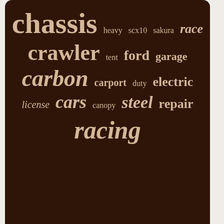[Figure (infographic): Word cloud on dark brown background featuring terms: chassis, heavy, scx10, sakura, race, crawler, tent, ford, garage, carbon, carport, duty, electric, license, cars, canopy, steel, repair, racing]
Car Chassis New
Contact Form
Privacy Policy
Terms of service
EN   FR
[Figure (infographic): Social media icons: Facebook, Twitter, Pinterest, Email]